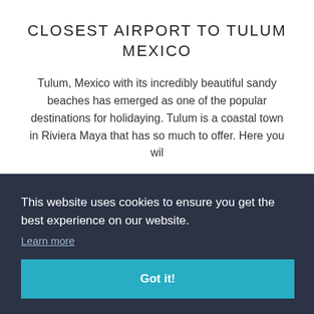CLOSEST AIRPORT TO TULUM MEXICO
Tulum, Mexico with its incredibly beautiful sandy beaches has emerged as one of the popular destinations for holidaying. Tulum is a coastal town in Riviera Maya that has so much to offer. Here you wil
This website uses cookies to ensure you get the best experience on our website.
Learn more
Got it!